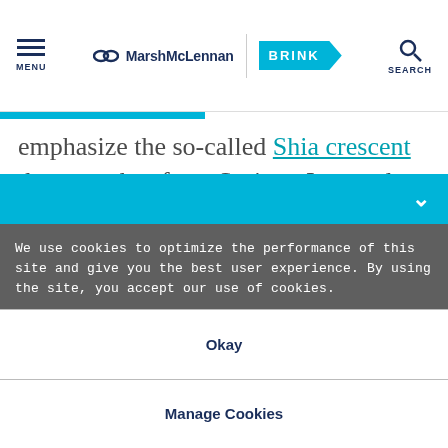MENU | MarshMcLennan BRINK | SEARCH
emphasize the so-called Shia crescent that stretches from Syria to Iran and balances Saudi influence in the wider region. If Iran is now aligning towards Russia, it likely appears to the Saudis that
We use cookies to optimize the performance of this site and give you the best user experience. By using the site, you accept our use of cookies.
Okay
Manage Cookies